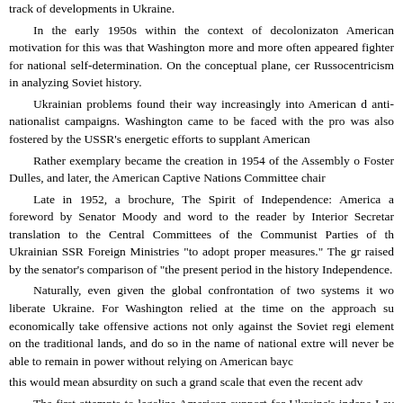track of developments in Ukraine.
In the early 1950s within the context of decolonizaton American motivation for this was that Washington more and more often appeared fighter for national self-determination. On the conceptual plane, cer Russocentricism in analyzing Soviet history.
Ukrainian problems found their way increasingly into American d anti-nationalist campaigns. Washington came to be faced with the pro was also fostered by the USSR's energetic efforts to supplant American
Rather exemplary became the creation in 1954 of the Assembly o Foster Dulles, and later, the American Captive Nations Committee chair
Late in 1952, a brochure, The Spirit of Independence: America a foreword by Senator Moody and word to the reader by Interior Secretar translation to the Central Committees of the Communist Parties of th Ukrainian SSR Foreign Ministries "to adopt proper measures." The gr raised by the senator's comparison of "the present period in the history Independence.
Naturally, even given the global confrontation of two systems it wo liberate Ukraine. For Washington relied at the time on the approach su economically take offensive actions not only against the Soviet regi element on the traditional lands, and do so in the name of national extre will never be able to remain in power without relying on American bayc
this would mean absurdity on such a grand scale that even the recent adv
The first attempts to legalize American support for Ukraine's indepe Lev Dobriansky in 1957-1958. The situation was favorable, given the f "Our total commitment is to serve our world together with the people of